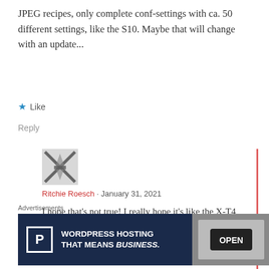JPEG recipes, only complete conf-settings with ca. 50 different settings, like the S10. Maybe that will change with an update...
★ Like
Reply
[Figure (photo): User avatar image showing an X-shaped road/path graphic in grayscale]
Ritchie Roesch · January 31, 2021
I hope that's not true! I really hope it's like the X-T4 and not the X-S10, that would be disappointing (and such an odd decision) if true.
Advertisements
[Figure (screenshot): WordPress Hosting advertisement banner: 'WORDPRESS HOSTING THAT MEANS BUSINESS.' with P logo and an OPEN sign photo]